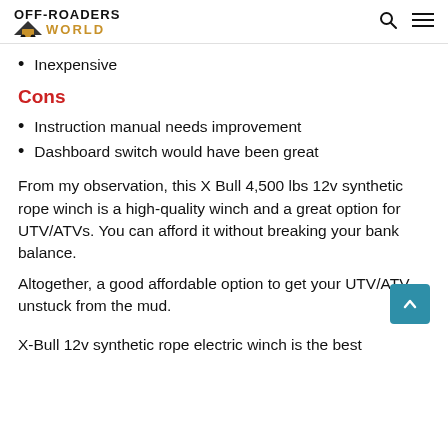OFF-ROADERS WORLD
Inexpensive
Cons
Instruction manual needs improvement
Dashboard switch would have been great
From my observation, this X Bull 4,500 lbs 12v synthetic rope winch is a high-quality winch and a great option for UTV/ATVs. You can afford it without breaking your bank balance.
Altogether, a good affordable option to get your UTV/ATV unstuck from the mud.
X-Bull 12v synthetic rope electric winch is the best